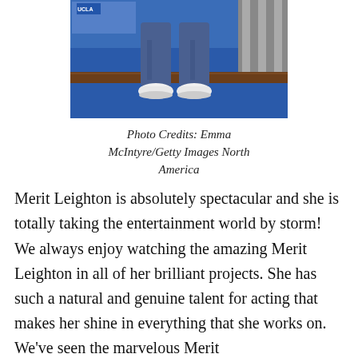[Figure (photo): Photo of a person's lower body wearing jeans and white shoes on a blue carpet, with a UCLA banner visible in the background.]
Photo Credits: Emma McIntyre/Getty Images North America
Merit Leighton is absolutely spectacular and she is totally taking the entertainment world by storm! We always enjoy watching the amazing Merit Leighton in all of her brilliant projects. She has such a natural and genuine talent for acting that makes her shine in everything that she works on. We've seen the marvelous Merit